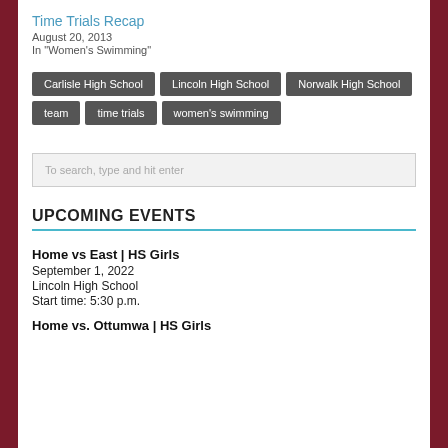Time Trials Recap
August 20, 2013
In "Women's Swimming"
Carlisle High School
Lincoln High School
Norwalk High School
team
time trials
women's swimming
To search, type and hit enter
UPCOMING EVENTS
Home vs East | HS Girls
September 1, 2022
Lincoln High School
Start time: 5:30 p.m.
Home vs. Ottumwa | HS Girls